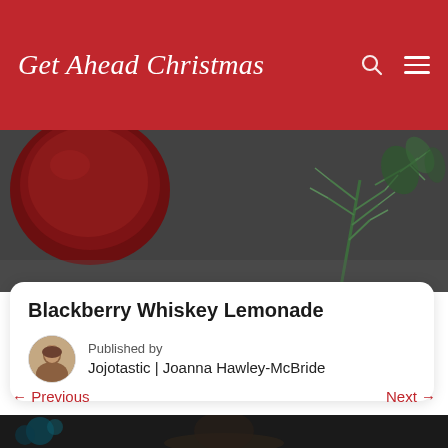Get Ahead Christmas
[Figure (photo): Close-up photo of a dark red blackberry and green herb sprig on a dark surface, partial view from article thumbnail]
Blackberry Whiskey Lemonade
Published by
Jojotastic | Joanna Hawley-McBride
← Previous
Next →
[Figure (photo): Partial bottom strip showing a dark photograph with a person wearing a hat]